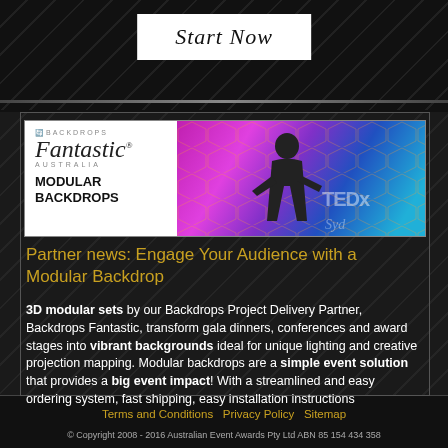Start Now
[Figure (photo): Banner image showing Backdrops Fantastic Australia Modular Backdrops logo on left (white background) and a presenter on stage with colorful hexagonal backdrop on right]
Partner news: Engage Your Audience with a Modular Backdrop
3D modular sets by our Backdrops Project Delivery Partner, Backdrops Fantastic, transform gala dinners, conferences and award stages into vibrant backgrounds ideal for unique lighting and creative projection mapping. Modular backdrops are a simple event solution that provides a big event impact! With a streamlined and easy ordering system, fast shipping, easy installation instructions
Terms and Conditions   Privacy Policy   Sitemap
© Copyright 2008 - 2016 Australian Event Awards Pty Ltd ABN 85 154 434 358